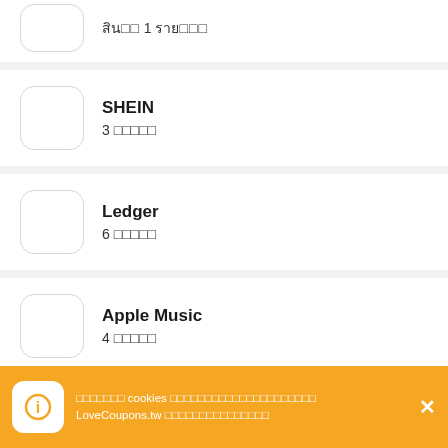สินค้า 1 รายการ (partial, top)
SHEIN – 3 รายการ
Ledger – 6 รายการ
Apple Music – 4 รายการ
(partial bottom item)
เราใช้ cookies เพื่อให้แน่ใจว่าคุณจะได้รับประสบการณ์ที่ดีที่สุดจาก LoveCoupons.tw อ่านนโยบายความเป็นส่วนตัวของเรา